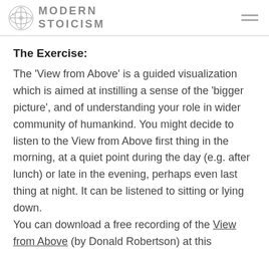MODERN STOICISM
The Exercise:
The 'View from Above' is a guided visualization which is aimed at instilling a sense of the 'bigger picture', and of understanding your role in wider community of humankind. You might decide to listen to the View from Above first thing in the morning, at a quiet point during the day (e.g. after lunch) or late in the evening, perhaps even last thing at night. It can be listened to sitting or lying down. You can download a free recording of the View from Above (by Donald Robertson) at this